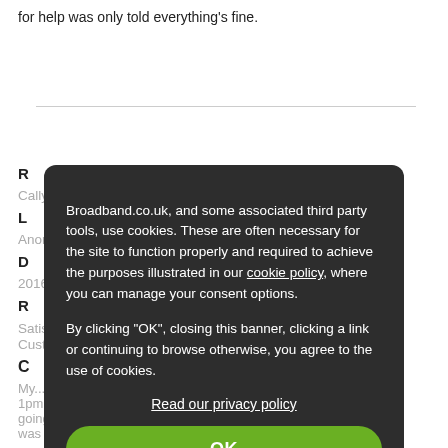for help was only told everything's fine.
Reviewer
CallY

Location
Anon

Date
2016

Ratings
Satisfaction
Customer Service

Comments
My... 1pm we... someone showed up... going on.. after having to repeat myself constantly I not... was fetting somewhere. The person i spoke to was rude. Tried...
Broadband.co.uk, and some associated third party tools, use cookies. These are often necessary for the site to function properly and required to achieve the purposes illustrated in our cookie policy, where you can manage your consent options.

By clicking "OK", closing this banner, clicking a link or continuing to browse otherwise, you agree to the use of cookies.

Read our privacy policy

OK